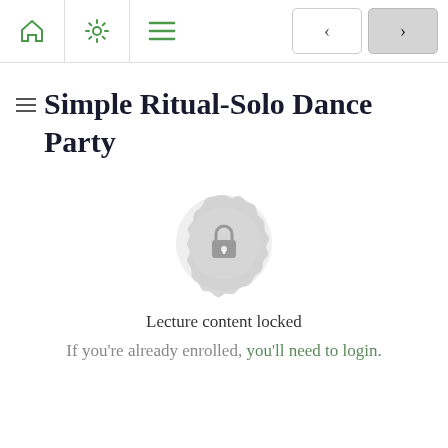Navigation bar with home, settings, menu icons and back/forward buttons
Simple Ritual-Solo Dance Party
[Figure (illustration): A decorative circular badge/seal with a lock icon in the center, rendered in light grey tones.]
Lecture content locked
If you're already enrolled, you'll need to login.